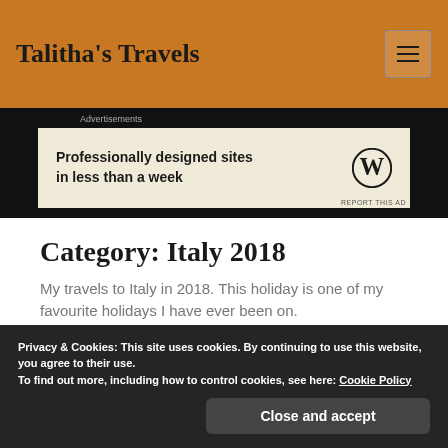Talitha's Travels
Advertisements
[Figure (screenshot): WordPress advertisement banner: 'Professionally designed sites in less than a week' with WordPress logo]
Category: Italy 2018
My travels to Italy in 2018. This holiday is one of my favourite holidays I have ever been on.
Privacy & Cookies: This site uses cookies. By continuing to use this website, you agree to their use.
To find out more, including how to control cookies, see here: Cookie Policy